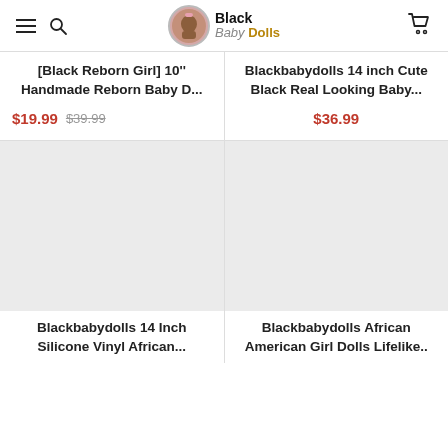Black Baby Dolls
[Black Reborn Girl] 10'' Handmade Reborn Baby D...
$19.99  $39.99
Blackbabydolls 14 inch Cute Black Real Looking Baby...
$36.99
[Figure (photo): Placeholder image for Blackbabydolls 14 Inch Silicone Vinyl African...]
Blackbabydolls 14 Inch Silicone Vinyl African...
[Figure (photo): Placeholder image for Blackbabydolls African American Girl Dolls Lifelike..]
Blackbabydolls African American Girl Dolls Lifelike..